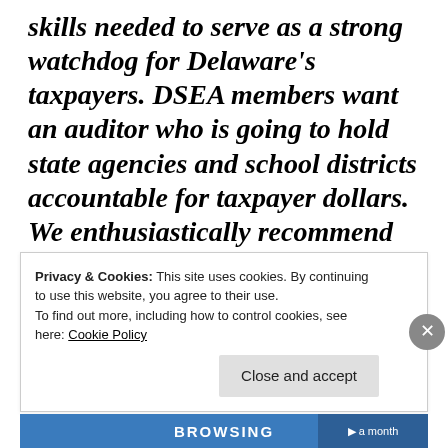skills needed to serve as a strong watchdog for Delaware's taxpayers. DSEA members want an auditor who is going to hold state agencies and school districts accountable for taxpayer dollars. We enthusiastically recommend Kathleen for State Auditor and believe she's the best choice for voters to make on September 6th.
Privacy & Cookies: This site uses cookies. By continuing to use this website, you agree to their use.
To find out more, including how to control cookies, see here: Cookie Policy
Close and accept
BROWSING